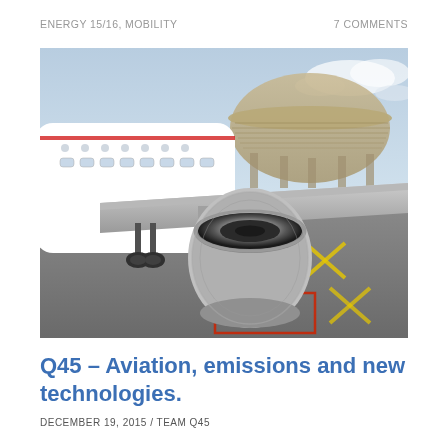ENERGY 15/16, MOBILITY
7 COMMENTS
[Figure (photo): Close-up photograph of an airplane on a tarmac. The image shows the underside of an aircraft wing with a jet engine prominent in the center-foreground. The white fuselage with windows is visible on the left. In the background is a large circular terminal building structure and a cloudy sky.]
Q45 – Aviation, emissions and new technologies.
DECEMBER 19, 2015 / TEAM Q45